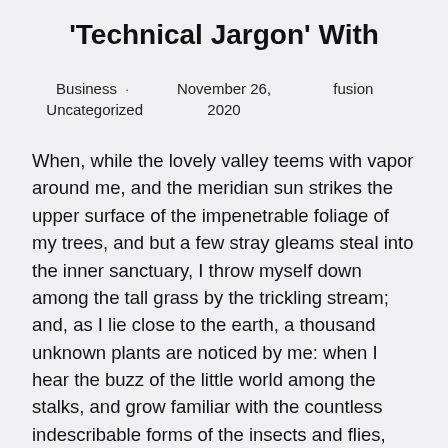'Technical Jargon' With
Business · Uncategorized   November 26, 2020   fusion
When, while the lovely valley teems with vapor around me, and the meridian sun strikes the upper surface of the impenetrable foliage of my trees, and but a few stray gleams steal into the inner sanctuary, I throw myself down among the tall grass by the trickling stream; and, as I lie close to the earth, a thousand unknown plants are noticed by me: when I hear the buzz of the little world among the stalks, and grow familiar with the countless indescribable forms of the insects and flies, then I feel the presence of the Almighty, who formed us in his own image, and the breath of that